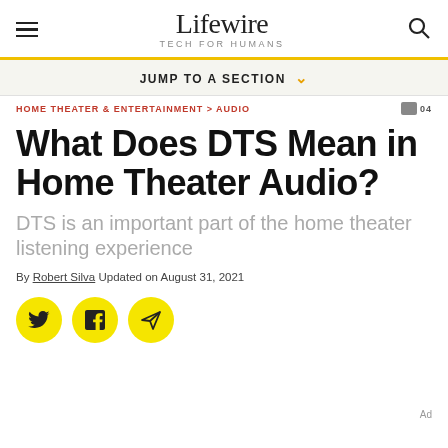Lifewire TECH FOR HUMANS
JUMP TO A SECTION
HOME THEATER & ENTERTAINMENT > AUDIO
What Does DTS Mean in Home Theater Audio?
DTS is an important part of the home theater listening experience
By Robert Silva Updated on August 31, 2021
[Figure (other): Social sharing buttons: Twitter, Facebook, and email/send icons on yellow circular backgrounds]